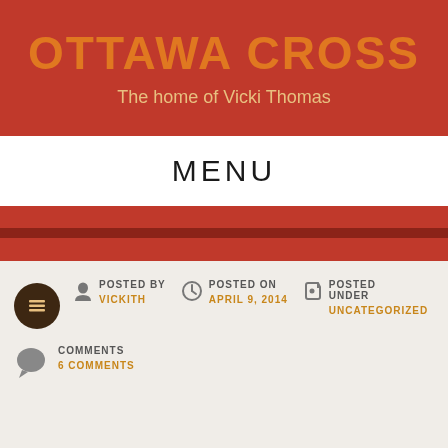OTTAWA CROSS
The home of Vicki Thomas
MENU
POSTED BY VICKITH
POSTED ON APRIL 9, 2014
POSTED UNDER UNCATEGORIZED
COMMENTS 6 COMMENTS